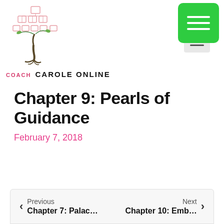[Figure (logo): Coach Carole Online logo with a decorative tree made of pink squares and green leaves, with text 'COACH CAROLE ONLINE' below]
Chapter 9: Pearls of Guidance
February 7, 2018
Previous Chapter 7: Palac... | Next Chapter 10: Emb...